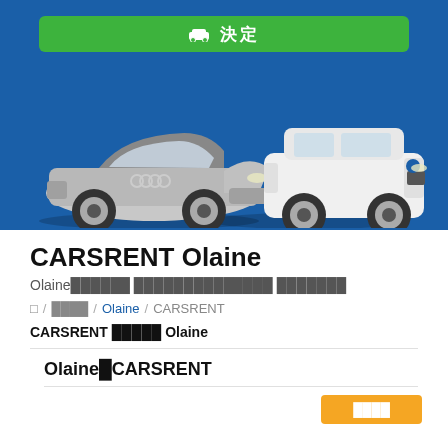[Figure (screenshot): Green button with car icon and text in header bar]
[Figure (photo): Two cars on blue background: silver Audi A5 convertible on left, white VW SUV on right]
CARSRENT Olaine
Olaine░░░░░░ ░░░░░░░░░░░░░░ ░░░░░░░
░ / ░░░░ / Olaine / CARSRENT
CARSRENT ░░░░░ Olaine
Olaine░CARSRENT